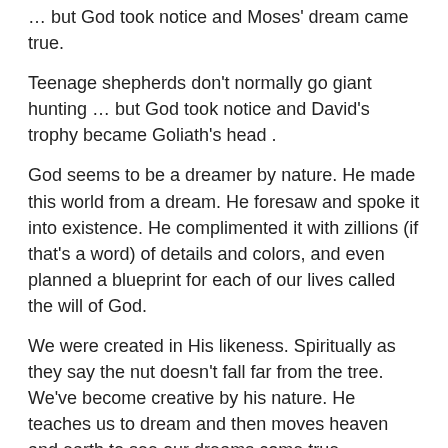… but God took notice and Moses' dream came true.
Teenage shepherds don't normally go giant hunting … but God took notice and David's trophy became Goliath's head .
God seems to be a dreamer by nature. He made this world from a dream. He foresaw and spoke it into existence. He complimented it with zillions (if that's a word) of details and colors, and even planned a blueprint for each of our lives called the will of God.
We were created in His likeness. Spiritually as they say the nut doesn't fall far from the tree. We've become creative by his nature. He teaches us to dream and then moves heaven and earth to see our dreams come true.
The Euphoria of Dreaming